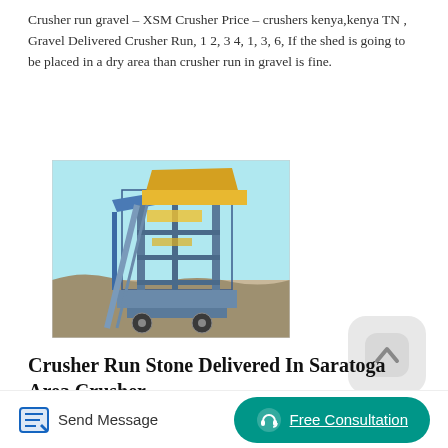Crusher run gravel – XSM Crusher Price – crushers kenya,kenya TN , Gravel Delivered Crusher Run, 1 2, 3 4, 1, 3, 6, If the shed is going to be placed in a dry area than crusher run in gravel is fine.
[Figure (photo): Industrial stone crusher machinery photographed at a quarry site, showing large mechanical structure with conveyor belts and steel framework against a blue sky and rocky terrain.]
[Figure (other): Chat bubble icon in a rounded square grey background showing a caret/chevron symbol]
Crusher Run Stone Delivered In Saratoga Area Crusher
Price Match Crusher Run Sandstone is Approximate 1785 Tons of 1 inch of Crusher Run Limestone for Run $ 9.40 5-6 Crusher Run $ 9.15 Descriptionprice for used ball mill 5 tons per hour Charge $ Per Ton 5 8
Send Message
Free Consultation